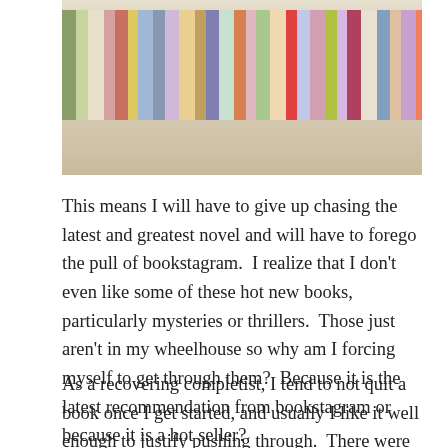[Figure (photo): Photograph of a bookshelf with colorful book spines arranged in a row, taken from a low angle showing the shelf and the books standing upright.]
This means I will have to give up chasing the latest and greatest novel and will have to forego the pull of bookstagram.  I realize that I don’t even like some of these hot new books, particularly mysteries or thrillers.  Those just aren’t in my wheelhouse so why am I forcing myself to get through them?  Because it is the latest recommendation from bookstagram or because it is a hot seller?
As a recovering completist, I tend to not quit a book once I get started, and usually I like it well enough to justify pushing through.  There were two contemporary